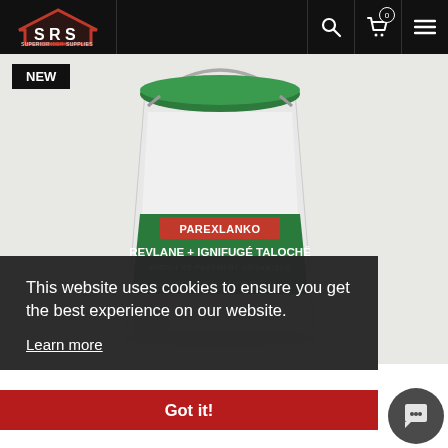SRS Superior Render Supplies — navigation bar with logo, search, cart (0), and menu icons
[Figure (photo): A white plastic bucket with green lid and green label reading 'PAREXLANKO REVLANE + IGNIFUGÉ TALOCHÉ — ENDUIT DE PAREMENT ORGANIQUE'. A 'NEW' badge appears in the top-left corner of the image area.]
This website uses cookies to ensure you get the best experience on our website.
Learn more
Got it!
decorative coating for external and internal walls.